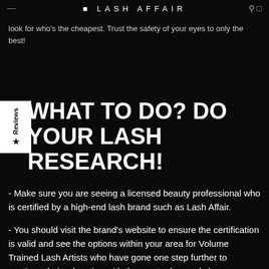LASH AFFAIR
look for who's the cheapest. Trust the safety of your eyes to only the best!
WHAT TO DO? DO YOUR LASH RESEARCH!
- Make sure you are seeing a licensed beauty professional who is certified by a high-end lash brand such as Lash Affair.
- You should visit the brand's website to ensure the certification is valid and see the options within your area for Volume Trained Lash Artists who have gone one step further to continue their education with the most advanced classes offered.
- Search social media sites such as Instagram or Facebook and websites to view pictures of your potential artist's work.
- Read reviews and seek personal recommendations from peers